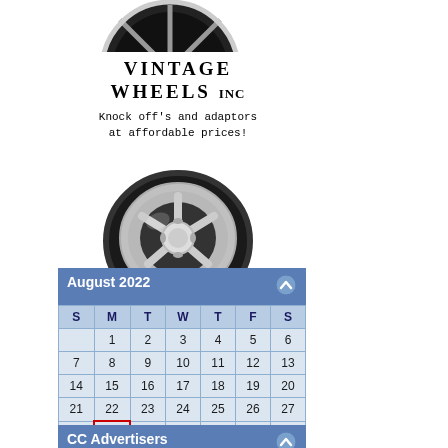[Figure (photo): Top portion of a chrome vintage wheel/spinner, partially visible at top of advertisement]
[Figure (illustration): Vintage Wheels Inc advertisement with brand name text and a chrome vintage wheel with knock-off spinner center]
| S | M | T | W | T | F | S |
| --- | --- | --- | --- | --- | --- | --- |
|  | 1 | 2 | 3 | 4 | 5 | 6 |
| 7 | 8 | 9 | 10 | 11 | 12 | 13 |
| 14 | 15 | 16 | 17 | 18 | 19 | 20 |
| 21 | 22 | 23 | 24 | 25 | 26 | 27 |
| 28 | 29 | 30 | 31 |  |  |  |
CC Advertisers